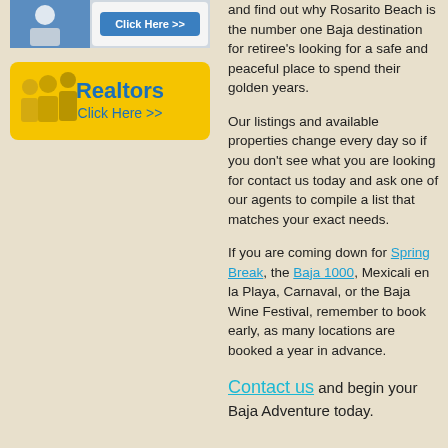[Figure (screenshot): A banner ad with a blue/white design showing a person and 'Click Here >>' button]
[Figure (screenshot): A yellow banner ad with group of business professionals, text 'Realtors Click Here >>']
and find out why Rosarito Beach is the number one Baja destination for retiree's looking for a safe and peaceful place to spend their golden years.
Our listings and available properties change every day so if you don't see what you are looking for contact us today and ask one of our agents to compile a list that matches your exact needs.
If you are coming down for Spring Break, the Baja 1000, Mexicali en la Playa, Carnaval, or the Baja Wine Festival, remember to book early, as many locations are booked a year in advance.
Contact us and begin your Baja Adventure today.